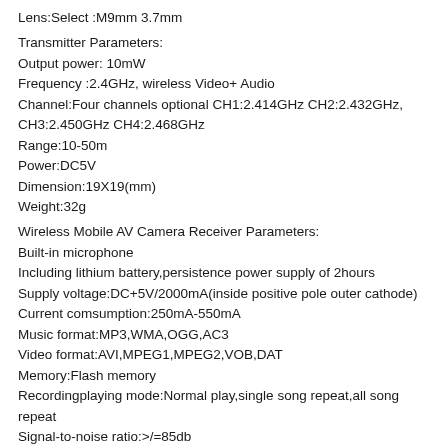Lens:Select :M9mm 3.7mm
Transmitter Parameters:
Output power: 10mW
Frequency :2.4GHz, wireless Video+ Audio
Channel:Four channels optional CH1:2.414GHz CH2:2.432GHz, CH3:2.450GHz CH4:2.468GHz
Range:10-50m
Power:DC5V
Dimension:19X19(mm)
Weight:32g
Wireless Mobile AV Camera Receiver Parameters:
Built-in microphone
Including lithium battery,persistence power supply of 2hours
Supply voltage:DC+5V/2000mA(inside positive pole outer cathode)
Current comsumption:250mA-550mA
Music format:MP3,WMA,OGG,AC3
Video format:AVI,MPEG1,MPEG2,VOB,DAT
Memory:Flash memory
Recordingplaying mode:Normal play,single song repeat,all song repeat
Signal-to-noise ratio:>/=85db